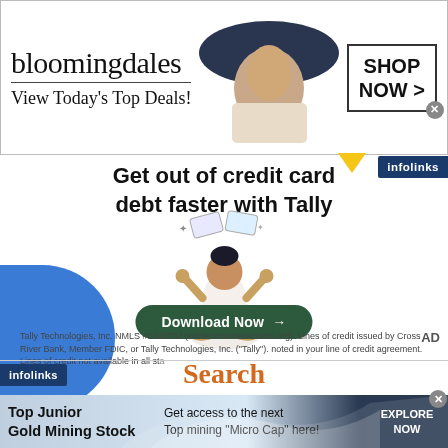[Figure (screenshot): Bloomingdales banner advertisement showing logo, 'View Today's Top Deals!' tagline, model in hat, and SHOP NOW button]
[Figure (logo): infolinks logo badge - dark blue]
Get out of credit card debt faster with Tally
[Figure (illustration): Illustration of a person meditating/juggling credit cards with a blue arc shape on the left side]
Download Now →
Tally Technologies, Inc. NMLS #1492782 (nmlsconsumeraccess.org). Lines of credit issued by Cross River Bank, Member FDIC, or Tally Technologies, Inc. ("Tally"). noted in your line of credit agreement. Lines of credit not available in all sta
AD
[Figure (logo): infolinks logo badge - dark blue]
Search
[Figure (screenshot): Bottom banner ad: Top Junior Gold Mining Stock - Get access to the next Top mining 'Micro Cap' here! EXPLORE NOW]